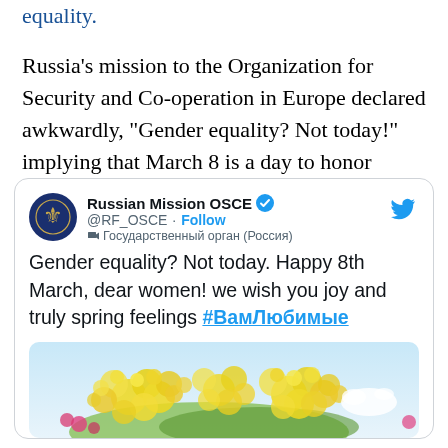equality.
Russia's mission to the Organization for Security and Co-operation in Europe declared awkwardly, "Gender equality? Not today!" implying that March 8 is a day to honor women above men.
[Figure (screenshot): Screenshot of a tweet by @RF_OSCE (Russian Mission OSCE), verified account, labeled as a government organization (Russia). Tweet text: 'Gender equality? Not today. Happy 8th March, dear women! we wish you joy and truly spring feelings #ВамЛюбимые'. Below the text is an image of yellow mimosa flowers.]